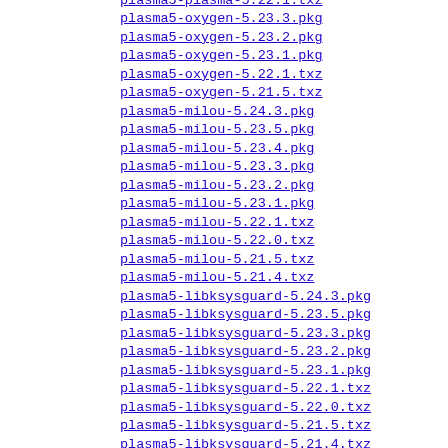plasma5-plasma-5.22.1.txz
plasma5-oxygen-5.23.3.pkg
plasma5-oxygen-5.23.2.pkg
plasma5-oxygen-5.23.1.pkg
plasma5-oxygen-5.22.1.txz
plasma5-oxygen-5.21.5.txz
plasma5-milou-5.24.3.pkg
plasma5-milou-5.23.5.pkg
plasma5-milou-5.23.4.pkg
plasma5-milou-5.23.3.pkg
plasma5-milou-5.23.2.pkg
plasma5-milou-5.23.1.pkg
plasma5-milou-5.22.1.txz
plasma5-milou-5.22.0.txz
plasma5-milou-5.21.5.txz
plasma5-milou-5.21.4.txz
plasma5-libksysguard-5.24.3.pkg
plasma5-libksysguard-5.23.5.pkg
plasma5-libksysguard-5.23.3.pkg
plasma5-libksysguard-5.23.2.pkg
plasma5-libksysguard-5.23.1.pkg
plasma5-libksysguard-5.22.1.txz
plasma5-libksysguard-5.22.0.txz
plasma5-libksysguard-5.21.5.txz
plasma5-libksysguard-5.21.4.txz
plasma5-libkscreen-5.24.3.pkg
plasma5-libkscreen-5.23.5.pkg
plasma5-libkscreen-5.23.3.pkg
plasma5-libkscreen-5.23.2.pkg
plasma5-libkscreen-5.23.1.pkg
plasma5-libkscreen-5.22.1.txz